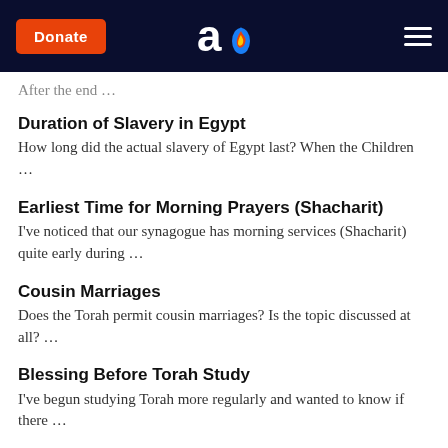Donate | Aish logo | hamburger menu
After the end …
Duration of Slavery in Egypt
How long did the actual slavery of Egypt last? When the Children …
Earliest Time for Morning Prayers (Shacharit)
I've noticed that our synagogue has morning services (Shacharit) quite early during …
Cousin Marriages
Does the Torah permit cousin marriages? Is the topic discussed at all? …
Blessing Before Torah Study
I've begun studying Torah more regularly and wanted to know if there …